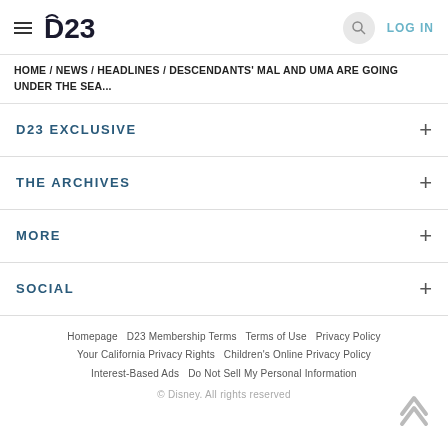D23 — LOG IN
HOME / NEWS / HEADLINES / DESCENDANTS' MAL AND UMA ARE GOING UNDER THE SEA...
D23 EXCLUSIVE
THE ARCHIVES
MORE
SOCIAL
Homepage   D23 Membership Terms   Terms of Use   Privacy Policy   Your California Privacy Rights   Children's Online Privacy Policy   Interest-Based Ads   Do Not Sell My Personal Information   © Disney. All rights reserved